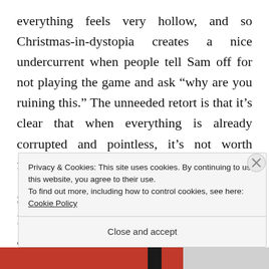everything feels very hollow, and so Christmas-in-dystopia creates a nice undercurrent when people tell Sam off for not playing the game and ask “why are you ruining this.” The unneeded retort is that it’s clear that when everything is already corrupted and pointless, it’s not worth fighting to preserve the status quo.
So in conclusion, despite being unnecessary I’ll allow it as Christmas movie.
Privacy & Cookies: This site uses cookies. By continuing to use this website, you agree to their use.
To find out more, including how to control cookies, see here: Cookie Policy

Close and accept